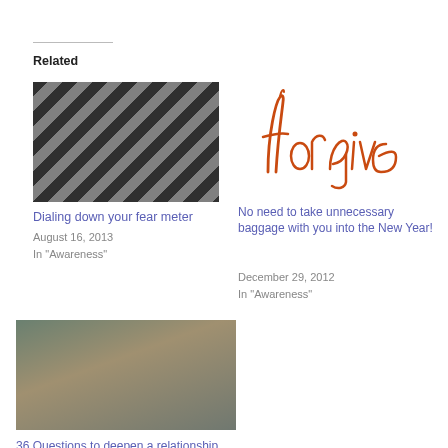Related
[Figure (photo): Close-up photo of chess pieces on a chess board, dark and moody tone]
Dialing down your fear meter
August 16, 2013
In "Awareness"
[Figure (illustration): Handwritten word 'forgive' in orange/red cursive script on white background]
No need to take unnecessary baggage with you into the New Year!
December 29, 2012
In "Awareness"
[Figure (photo): Two people sitting outdoors in a forest, engaged in conversation]
36 Questions to deepen a relationship